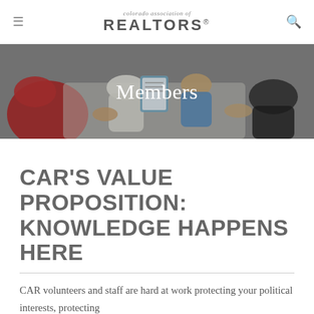colorado association of REALTORS®
[Figure (photo): Overhead view of people sitting and reviewing documents together, banner image with Members text overlay]
CAR'S VALUE PROPOSITION: KNOWLEDGE HAPPENS HERE
CAR volunteers and staff are hard at work protecting your political interests, protecting